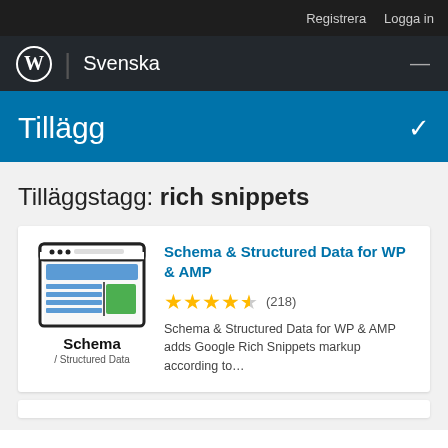Registrera  Logga in
WordPress | Svenska
Tillägg
Tilläggstagg: rich snippets
[Figure (logo): Schema & Structured Data plugin icon showing a browser window with content blocks in blue and green, labeled 'Schema / Structured Data']
Schema & Structured Data for WP & AMP
★★★★½ (218)
Schema & Structured Data for WP & AMP adds Google Rich Snippets markup according to...